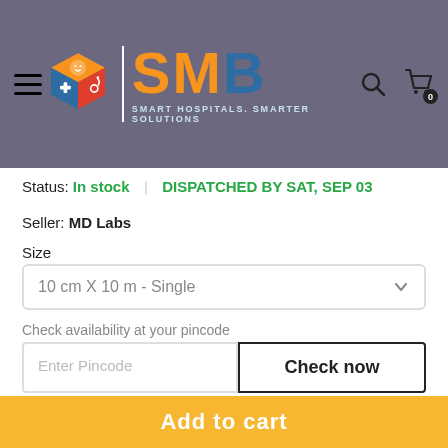[Figure (logo): SMB Smart Hospitals Smarter Solutions logo with colorful cube icon in header navigation bar]
Status: In stock | DISPATCHED BY SAT, SEP 03
Seller: MD Labs
Size
10 cm X 10 m - Single
Check availability at your pincode
Enter Pincode
Check now
Quantity
1
Add to cart